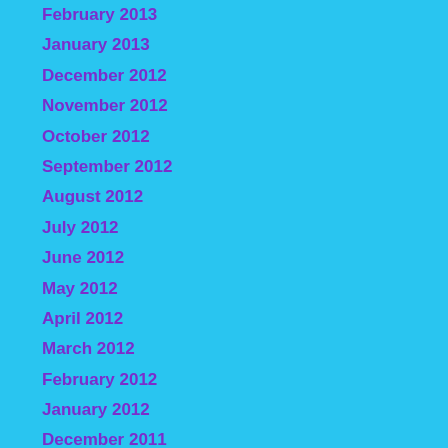February 2013
January 2013
December 2012
November 2012
October 2012
September 2012
August 2012
July 2012
June 2012
May 2012
April 2012
March 2012
February 2012
January 2012
December 2011